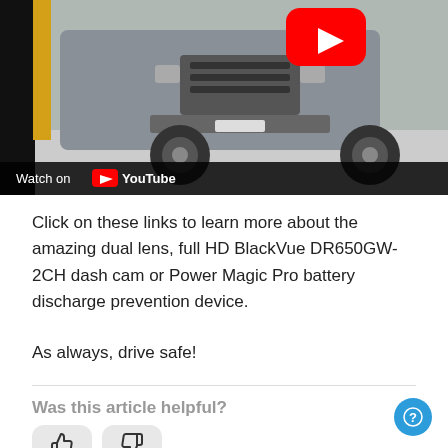[Figure (screenshot): YouTube video thumbnail showing a van/truck from the front, with a YouTube play button overlay in the top-right area. A 'Watch on YouTube' bar is shown at the bottom of the video frame.]
Click on these links to learn more about the amazing dual lens, full HD BlackVue DR650GW-2CH dash cam or Power Magic Pro battery discharge prevention device.
As always, drive safe!
Was this article helpful?